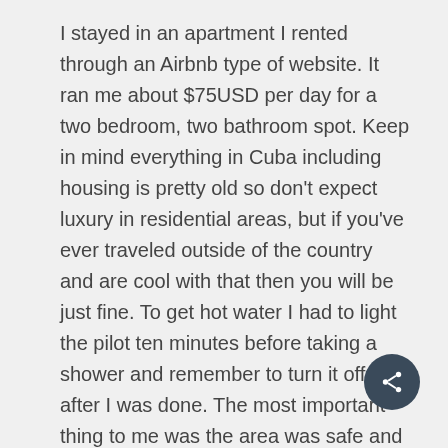I stayed in an apartment I rented through an Airbnb type of website. It ran me about $75USD per day for a two bedroom, two bathroom spot. Keep in mind everything in Cuba including housing is pretty old so don't expect luxury in residential areas, but if you've ever traveled outside of the country and are cool with that then you will be just fine. To get hot water I had to light the pilot ten minutes before taking a shower and remember to turn it off after I was done. The most important thing to me was the area was safe and it was. Old people were literally outside walking around at 2am. Nobody seemed to be concerned about danger or drama. All the neighbors were cool and people were friendly when walking up and down the street. If you spoke or smiled they